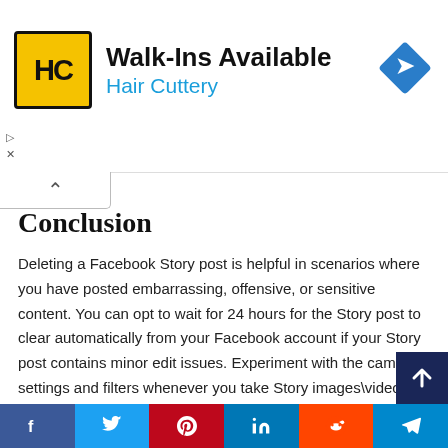[Figure (other): Hair Cuttery advertisement banner: HC logo in yellow square, 'Walk-Ins Available' heading, 'Hair Cuttery' in blue, blue diamond navigation icon on right, play/close controls on left]
Conclusion
Deleting a Facebook Story post is helpful in scenarios where you have posted embarrassing, offensive, or sensitive content. You can opt to wait for 24 hours for the Story post to clear automatically from your Facebook account if your Story post contains minor edit issues. Experiment with the camera settings and filters whenever you take Story images\videos using your Phone camera.
Did you like this post?
Click on a star to rate it!